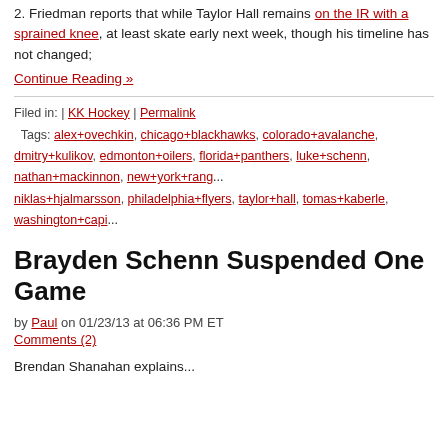2. Friedman reports that while Taylor Hall remains on the IR with a sprained knee, at least skate early next week, though his timeline has not changed;
Continue Reading »
Filed in: | KK Hockey | Permalink
Tags: alex+ovechkin, chicago+blackhawks, colorado+avalanche, dmitry+kulikov, edmonton+oilers, florida+panthers, luke+schenn, nathan+mackinnon, new+york+rang..., niklas+hjalmarsson, philadelphia+flyers, taylor+hall, tomas+kaberle, washington+capi...
Brayden Schenn Suspended One Game
by Paul on 01/23/13 at 06:36 PM ET
Comments (2)
Brendan Shanahan explains...